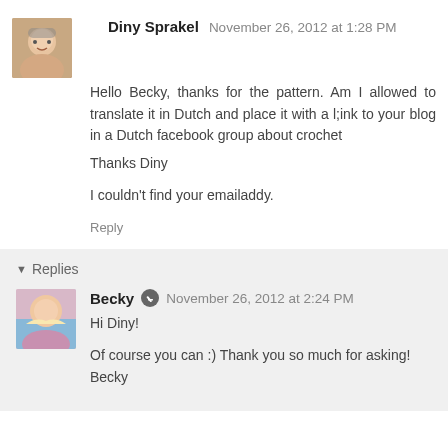Diny Sprakel  November 26, 2012 at 1:28 PM
Hello Becky, thanks for the pattern. Am I allowed to translate it in Dutch and place it with a l;ink to your blog in a Dutch facebook group about crochet
Thanks Diny

I couldn't find your emailaddy.
Reply
Replies
Becky  November 26, 2012 at 2:24 PM
Hi Diny!

Of course you can :) Thank you so much for asking!
Becky